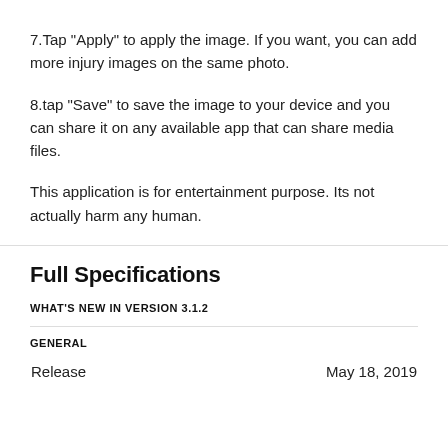7.Tap "Apply" to apply the image. If you want, you can add more injury images on the same photo.
8.tap "Save" to save the image to your device and you can share it on any available app that can share media files.
This application is for entertainment purpose. Its not actually harm any human.
Full Specifications
WHAT'S NEW IN VERSION 3.1.2
GENERAL
|  |  |
| --- | --- |
| Release | May 18, 2019 |